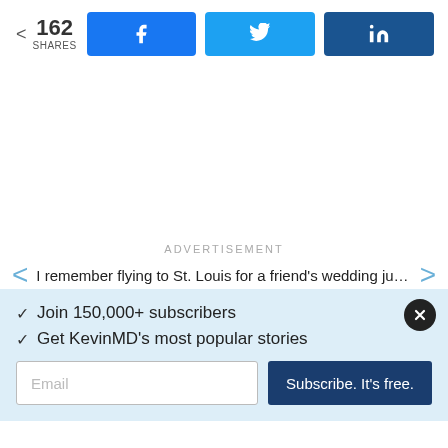162 SHARES
[Figure (infographic): Social share buttons: Facebook, Twitter, LinkedIn]
ADVERTISEMENT
I remember flying to St. Louis for a friend's wedding just two
✓ Join 150,000+ subscribers
✓ Get KevinMD's most popular stories
Email | Subscribe. It's free.